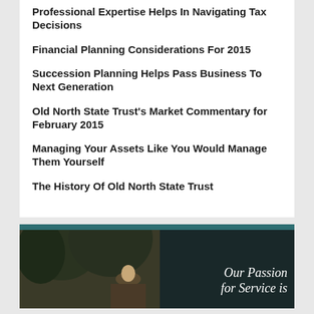Professional Expertise Helps In Navigating Tax Decisions
Financial Planning Considerations For 2015
Succession Planning Helps Pass Business To Next Generation
Old North State Trust's Market Commentary for February 2015
Managing Your Assets Like You Would Manage Them Yourself
The History Of Old North State Trust
[Figure (photo): Photo of a person wearing a hat outdoors with trees in background, with a teal header bar and italic text overlay reading 'Our Passion for Service is']